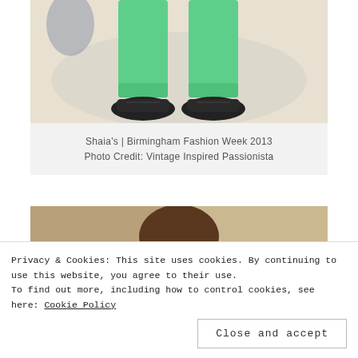[Figure (photo): Lower half of a person wearing bright green/mint trousers with cuffed ankles and dark navy/black boat shoes, standing on a white surface. Fashion show context.]
Shaia's | Birmingham Fashion Week 2013
Photo Credit: Vintage Inspired Passionista
[Figure (photo): Person with shoulder-length brown hair and glasses, sitting in what appears to be a fashion show audience. Background is blurred warm tones.]
Privacy & Cookies: This site uses cookies. By continuing to use this website, you agree to their use.
To find out more, including how to control cookies, see here: Cookie Policy
Close and accept